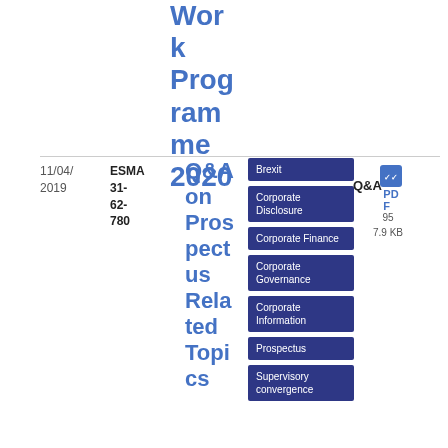Work Programme 2020
11/04/2019
ESMA 31-62-780
Q&A on Prospectus Related Topics
Brexit
Corporate Disclosure
Corporate Finance
Corporate Governance
Corporate Information
Prospectus
Supervisory convergence
Q&A
PDF
95
7.9 KB